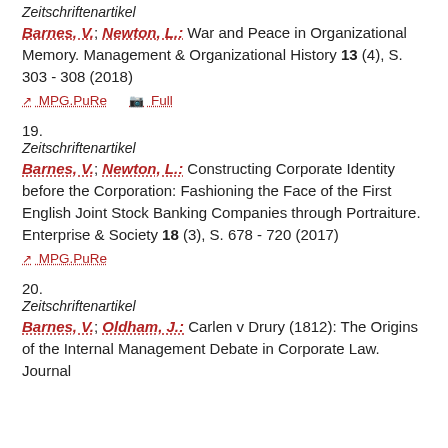Zeitschriftenartikel
Barnes, V.; Newton, L.: War and Peace in Organizational Memory. Management & Organizational History 13 (4), S. 303 - 308 (2018)
MPG.PuRe   Full
19.
Zeitschriftenartikel
Barnes, V.; Newton, L.: Constructing Corporate Identity before the Corporation: Fashioning the Face of the First English Joint Stock Banking Companies through Portraiture. Enterprise & Society 18 (3), S. 678 - 720 (2017)
MPG.PuRe
20.
Zeitschriftenartikel
Barnes, V.; Oldham, J.: Carlen v Drury (1812): The Origins of the Internal Management Debate in Corporate Law. Journal